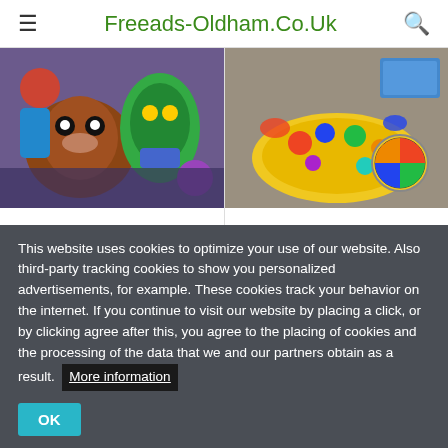Freeads-Oldham.Co.Uk
[Figure (photo): Product image of NEW Scooby Doo item showing cartoon characters on packaging]
NEW Scooby Doo
£10
[Figure (photo): Product image of Elefun and friends toy game with colorful pieces on a board]
Elefun and friends
£5
This website uses cookies to optimize your use of our website. Also third-party tracking cookies to show you personalized advertisements, for example. These cookies track your behavior on the internet. If you continue to visit our website by placing a click, or by clicking agree after this, you agree to the placing of cookies and the processing of the data that we and our partners obtain as a result. More information